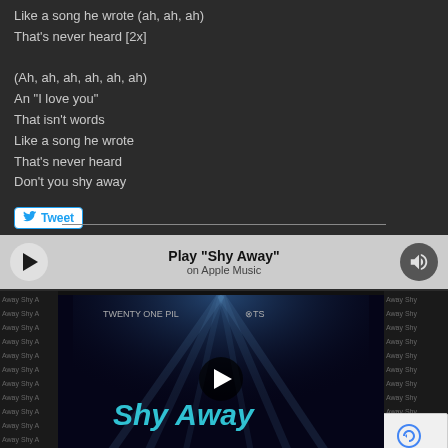Like a song he wrote (ah, ah, ah)
That's never heard [2x]

(Ah, ah, ah, ah, ah, ah)
An "I love you"
That isn't words
Like a song he wrote
That's never heard
Don't you shy away
[Figure (screenshot): Tweet button with Twitter bird icon]
[Figure (screenshot): Apple Music player bar with play button, 'Play Shy Away' text, 'on Apple Music' subtitle, and volume button]
[Figure (screenshot): YouTube video thumbnail for Twenty One Pilots 'Shy Away' with play button overlay, decorative side strips with repeating text, and reCAPTCHA box in corner]